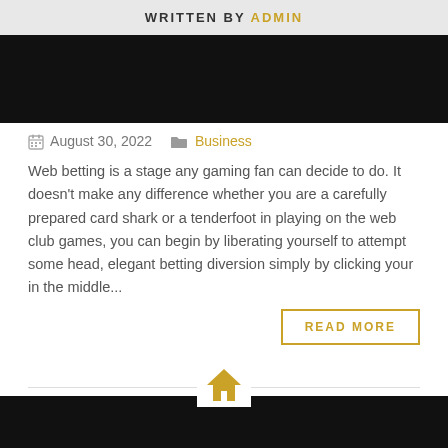WRITTEN BY ADMIN
[Figure (photo): Black rectangular image banner]
August 30, 2022   Business
Web betting is a stage any gaming fan can decide to do. It doesn't make any difference whether you are a carefully prepared card shark or a tenderfoot in playing on the web club games, you can begin by liberating yourself to attempt some head, elegant betting diversion simply by clicking your in the middle...
READ MORE
[Figure (other): Home icon in gold/yellow color with horizontal divider line]
[Figure (photo): Black rectangular image banner at bottom]